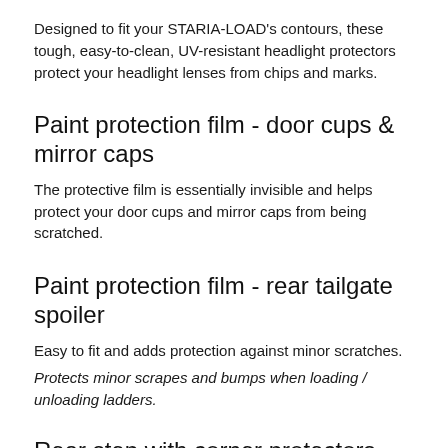Designed to fit your STARIA-LOAD's contours, these tough, easy-to-clean, UV-resistant headlight protectors protect your headlight lenses from chips and marks.
Paint protection film - door cups & mirror caps
The protective film is essentially invisible and helps protect your door cups and mirror caps from being scratched.
Paint protection film - rear tailgate spoiler
Easy to fit and adds protection against minor scratches.
Protects minor scrapes and bumps when loading / unloading ladders.
Rear step with corner protectors